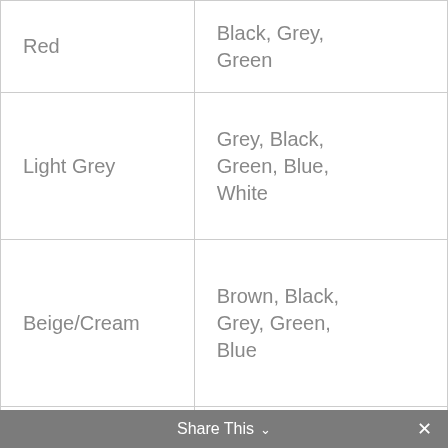| Color | Complementary Colors |
| --- | --- |
| Red | Black, Grey, Green |
| Light Grey | Grey, Black, Green, Blue, White |
| Beige/Cream | Brown, Black, Grey, Green, Blue |
| Brown | Grey, Brown, Green, Blue |
| White | Almost any color: Brown, Grey, Black, Green, Blue |
Share This ∨  ✕